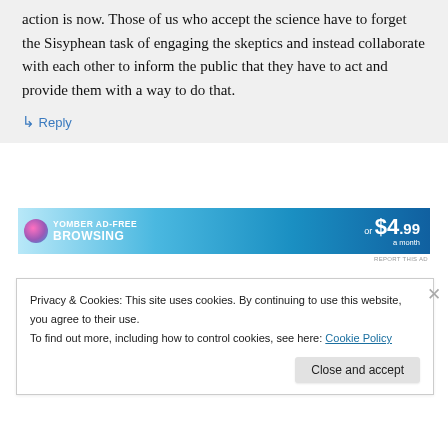action is now. Those of us who accept the science have to forget the Sisyphean task of engaging the skeptics and instead collaborate with each other to inform the public that they have to act and provide them with a way to do that.
↳ Reply
[Figure (screenshot): Advertisement banner: YOMBER AD-FREE BROWSING or $4.99 a month]
REPORT THIS AD
Privacy & Cookies: This site uses cookies. By continuing to use this website, you agree to their use.
To find out more, including how to control cookies, see here: Cookie Policy
Close and accept